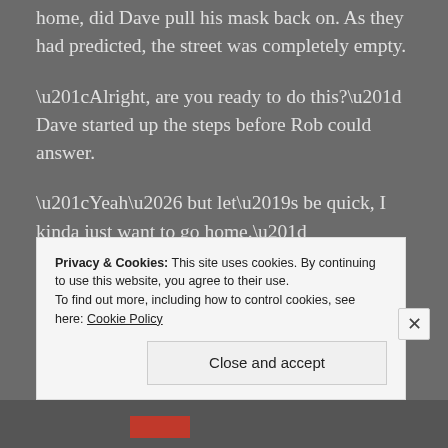home, did Dave pull his mask back on. As they had predicted, the street was completely empty.
“Alright, are you ready to do this?” Dave started up the steps before Rob could answer.
“Yeah… but let’s be quick, I kinda just want to go home.”
Dave pulled the bag free from his waist as Rob banged on the front door.
A series of lights came on within the house one at a time
Privacy & Cookies: This site uses cookies. By continuing to use this website, you agree to their use.
To find out more, including how to control cookies, see here: Cookie Policy
Close and accept